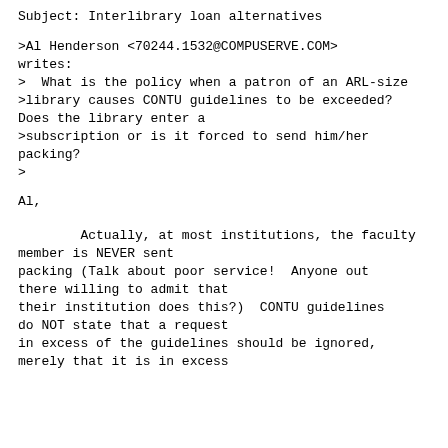Subject: Interlibrary loan alternatives
>Al Henderson <70244.1532@COMPUSERVE.COM> writes:
>  What is the policy when a patron of an ARL-size
>library causes CONTU guidelines to be exceeded? Does the library enter a
>subscription or is it forced to send him/her packing?
>
Al,
Actually, at most institutions, the faculty member is NEVER sent packing (Talk about poor service!  Anyone out there willing to admit that their institution does this?)  CONTU guidelines do NOT state that a request in excess of the guidelines should be ignored, merely that it is in excess